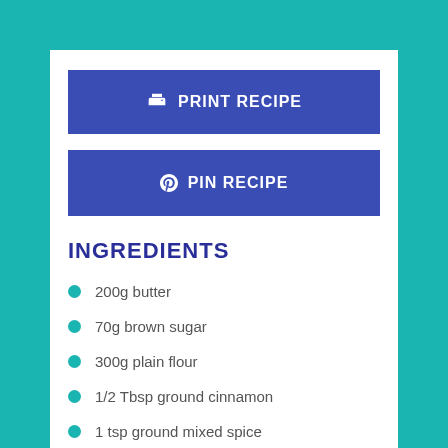[Figure (other): Blue button with printer icon labeled PRINT RECIPE]
[Figure (other): Blue button with Pinterest icon labeled PIN RECIPE]
INGREDIENTS
200g butter
70g brown sugar
300g plain flour
1/2 Tbsp ground cinnamon
1 tsp ground mixed spice
1/2 tsp orange zest
1/2 tsp lemon zest